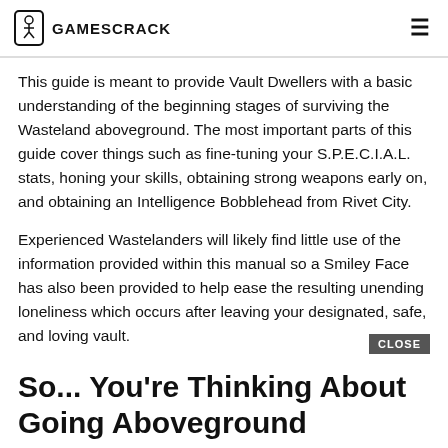GAMESCRACK
This guide is meant to provide Vault Dwellers with a basic understanding of the beginning stages of surviving the Wasteland aboveground. The most important parts of this guide cover things such as fine-tuning your S.P.E.C.I.A.L. stats, honing your skills, obtaining strong weapons early on, and obtaining an Intelligence Bobblehead from Rivet City.
Experienced Wastelanders will likely find little use of the information provided within this manual so a Smiley Face has also been provided to help ease the resulting unending loneliness which occurs after leaving your designated, safe, and loving vault.
So... You're Thinking About Going Aboveground